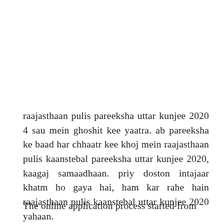raajasthaan pulis pareeksha uttar kunjee 2020 4 sau mein ghoshit kee yaatra. ab pareeksha ke baad har chhaatr kee khoj mein raajasthaan pulis kaanstebal pareeksha uttar kunjee 2020, kaagaj samaadhaan. priy doston intajaar khatm ho gaya hai, ham kar rahe hain raajasthaan pulis kaanstebal uttar kunjee 2020 yahaan.
The online application process started from